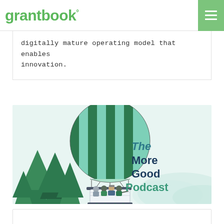grantbook°
digitally mature operating model that enables innovation.
[Figure (illustration): The More Good Podcast promotional image featuring a hot air balloon with green and teal stripes, carrying four illustrated people in the basket, surrounded by green trees and misty mountains, with the text 'The More Good Podcast' displayed prominently on the right side.]